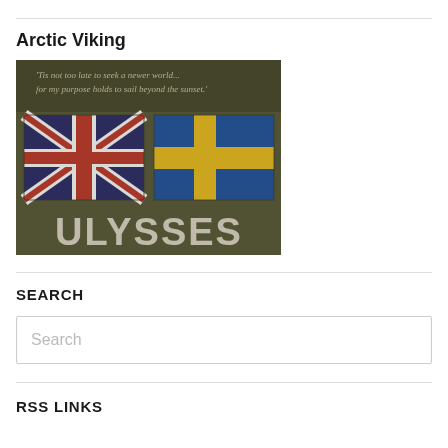Arctic Viking
[Figure (illustration): Image showing two flags side by side — the UK Union Jack on the left and the Swedish flag (blue with yellow cross) on the right — on a dark olive/khaki textured background. Above the flags, italic text reads: 'Tis not too late to seek a newer world... for my purpose holds to sail beyond the sunset.' Below the flags, large bold white text reads: ULYSSES]
SEARCH
Search
RSS LINKS